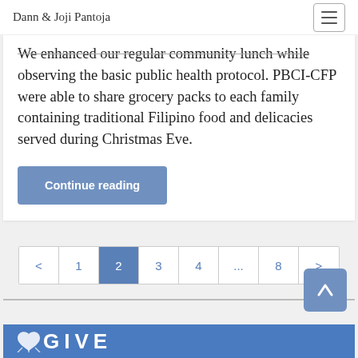Dann & Joji Pantoja
We enhanced our regular community lunch while observing the basic public health protocol. PBCI-CFP were able to share grocery packs to each family containing traditional Filipino food and delicacies served during Christmas Eve.
Continue reading
< 1 2 3 4 ... 8 >
[Figure (screenshot): Footer banner with bird icon and GIVE text on blue background]